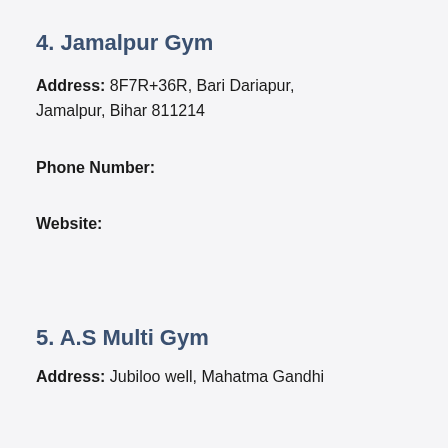4. Jamalpur Gym
Address: 8F7R+36R, Bari Dariapur, Jamalpur, Bihar 811214
Phone Number:
Website:
5. A.S Multi Gym
Address: Jubiloo well, Mahatma Gandhi